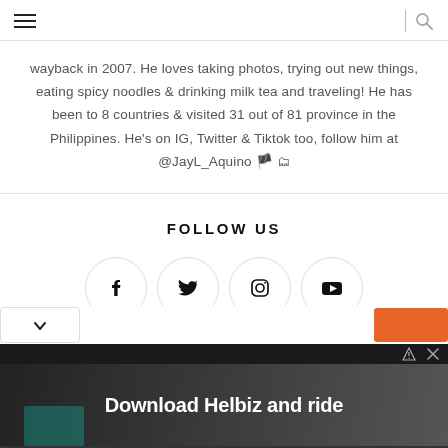Navigation header with hamburger menu and search icon
wayback in 2007. He loves taking photos, trying out new things, eating spicy noodles & drinking milk tea and traveling! He has been to 8 countries & visited 31 out of 81 province in the Philippines. He's on IG, Twitter & Tiktok too, follow him at @JayL_Aquino 🇵🇭
FOLLOW US
[Figure (infographic): Four social media icons in circles: Facebook, Twitter, Instagram, YouTube]
[Figure (infographic): Bottom overlay bar with chevron and orange button, plus advertisement banner reading 'Download Helbiz and ride']